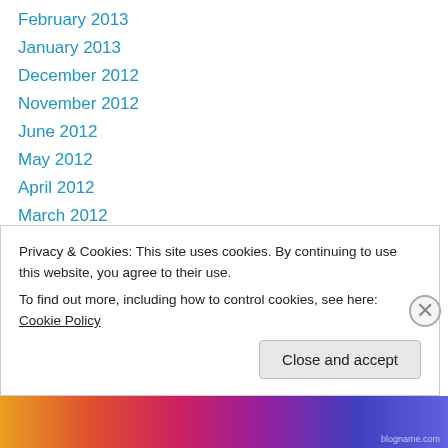February 2013
January 2013
December 2012
November 2012
June 2012
May 2012
April 2012
March 2012
February 2012
January 2012
December 2011
November 2011
October 2011
Privacy & Cookies: This site uses cookies. By continuing to use this website, you agree to their use. To find out more, including how to control cookies, see here: Cookie Policy
Close and accept